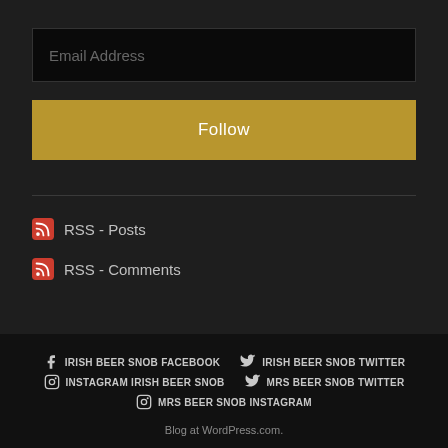Email Address
Follow
RSS - Posts
RSS - Comments
IRISH BEER SNOB FACEBOOK  IRISH BEER SNOB TWITTER  INSTAGRAM IRISH BEER SNOB  MRS BEER SNOB TWITTER  MRS BEER SNOB INSTAGRAM  Blog at WordPress.com.